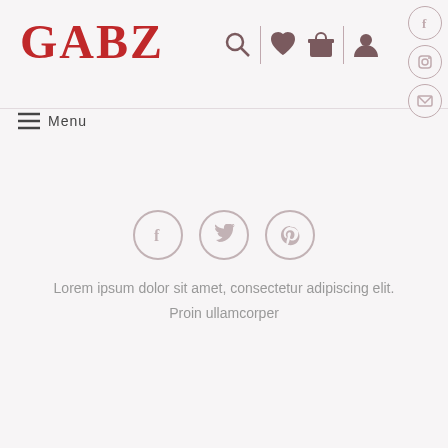GABZ — navigation header with logo, search, wishlist, bag, account icons and social links (Facebook, Instagram, Email)
[Figure (screenshot): Menu hamburger icon with label 'Menu']
[Figure (infographic): Three circular social share icons: Facebook, Twitter, Pinterest]
Lorem ipsum dolor sit amet, consectetur adipiscing elit. Proin ullamcorper